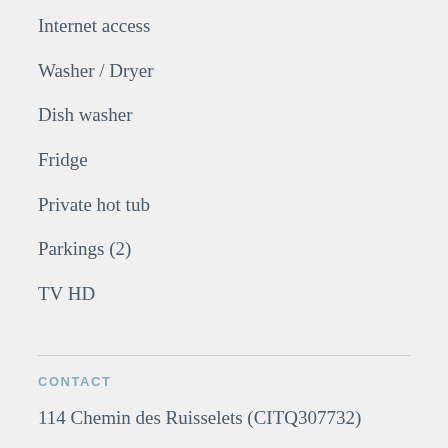Internet access
Washer / Dryer
Dish washer
Fridge
Private hot tub
Parkings (2)
TV HD
CONTACT
114 Chemin des Ruisselets (CITQ307732)